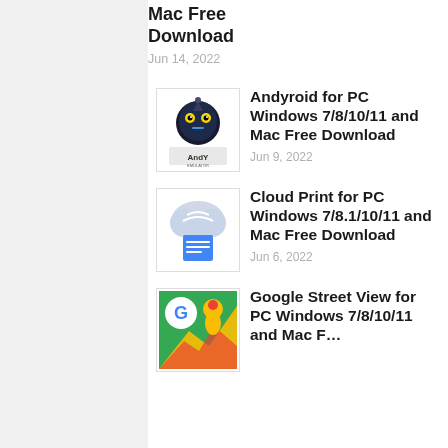Mac Free Download
Jun 14, 2022
Andyroid for PC Windows 7/8/10/11 and Mac Free Download
Jun 9, 2022
Cloud Print for PC Windows 7/8.1/10/11 and Mac Free Download
Jun 6, 2022
Google Street View for PC Windows 7/8/10/11 and Mac Free Download